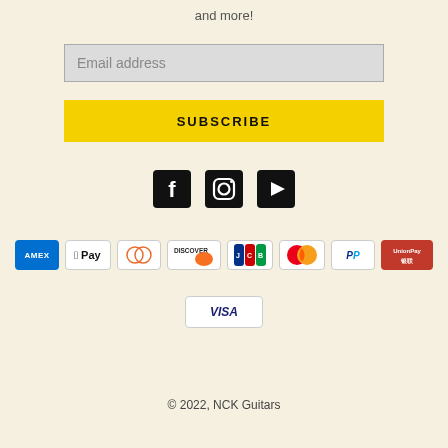and more!
[Figure (other): Email address input field (greyed out placeholder)]
[Figure (other): Yellow SUBSCRIBE button]
[Figure (other): Social media icons: Facebook, Instagram, YouTube]
[Figure (other): Payment method logos: AMEX, Apple Pay, Diners, Discover, JCB, Mastercard, PayPal, UnionPay, Visa]
© 2022, NCK Guitars